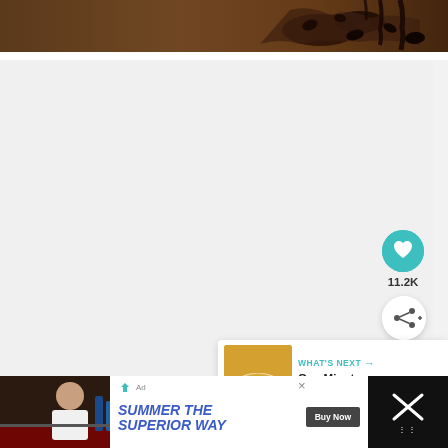[Figure (photo): Close-up photo of chocolate brownies or chocolate drizzle on a dark surface]
[Figure (screenshot): White content area with social interaction buttons: a teal heart/like button showing 11.2K likes, and a share button]
[Figure (screenshot): WHAT'S NEXT panel showing a thumbnail of a bowl and text 'One Minute Chocolate...']
[Figure (screenshot): Bottom advertisement bar with man at bar image and text 'SUMMER THE SUPERIOR WAY' with Buy Now button, and an X close button]